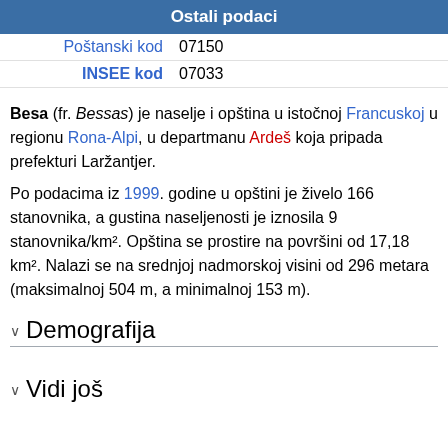| Ostali podaci |
| --- |
| Poštanski kod | 07150 |
| INSEE kod | 07033 |
Besa (fr. Bessas) je naselje i opština u istočnoj Francuskoj u regionu Rona-Alpi, u departmanu Ardeš koja pripada prefekturi Laržantjer.
Po podacima iz 1999. godine u opštini je živelo 166 stanovnika, a gustina naseljenosti je iznosila 9 stanovnika/km². Opština se prostire na površini od 17,18 km². Nalazi se na srednjoj nadmorskoj visini od 296 metara (maksimalnoj 504 m, a minimalnoj 153 m).
Demografija
Vidi još